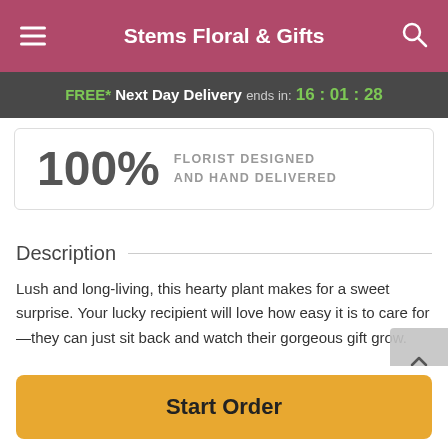Stems Floral & Gifts
FREE* Next Day Delivery ends in: 16:01:28
100% FLORIST DESIGNED AND HAND DELIVERED
Description
Lush and long-living, this hearty plant makes for a sweet surprise. Your lucky recipient will love how easy it is to care for—they can just sit back and watch their gorgeous gift grow.
Gift them a Chinese Evergreen in a natural bamboo
Start Order